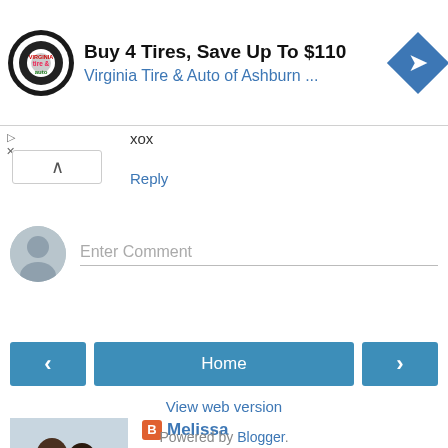[Figure (screenshot): Advertisement banner: Virginia Tire & Auto of Ashburn — Buy 4 Tires, Save Up To $110, with circular logo and blue diamond arrow icon]
xox
Reply
Enter Comment
[Figure (screenshot): Navigation row with left arrow button, Home button, and right arrow button in teal/blue]
View web version
[Figure (photo): Profile photo of Melissa showing two people]
Melissa
View my complete profile
Powered by Blogger.